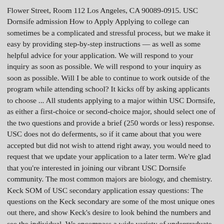Flower Street, Room 112 Los Angeles, CA 90089-0915. USC Dornsife admission How to Apply Applying to college can sometimes be a complicated and stressful process, but we make it easy by providing step-by-step instructions — as well as some helpful advice for your application. We will respond to your inquiry as soon as possible. We will respond to your inquiry as soon as possible. Will I be able to continue to work outside of the program while attending school? It kicks off by asking applicants to choose ... All students applying to a major within USC Dornsife, as either a first-choice or second-choice major, should select one of the two questions and provide a brief (250 words or less) response. USC does not do deferments, so if it came about that you were accepted but did not wish to attend right away, you would need to request that we update your application to a later term. We're glad that you're interested in joining our vibrant USC Dornsife community. The most common majors are biology, and chemistry. Keck SOM of USC secondary application essay questions: The questions on the Keck secondary are some of the most unique ones out there, and show Keck's desire to look behind the numbers and see the individual. We encompass a wide variety of undergraduate majors – from Art History to Applied and Computational Mathematics; East Asian Languages and Cultures to Economics; Neuroscience to